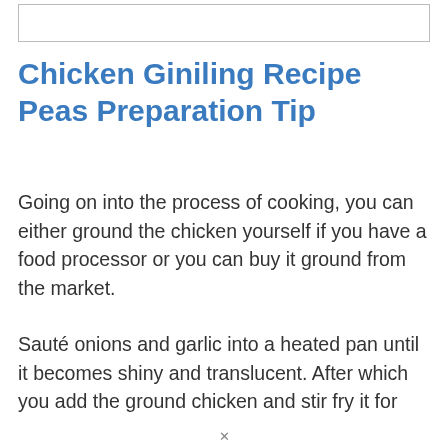[Figure (other): Image placeholder box at top of page]
Chicken Giniling Recipe Peas Preparation Tip
Going on into the process of cooking, you can either ground the chicken yourself if you have a food processor or you can buy it ground from the market.
Sauté onions and garlic into a heated pan until it becomes shiny and translucent. After which you add the ground chicken and stir fry it for